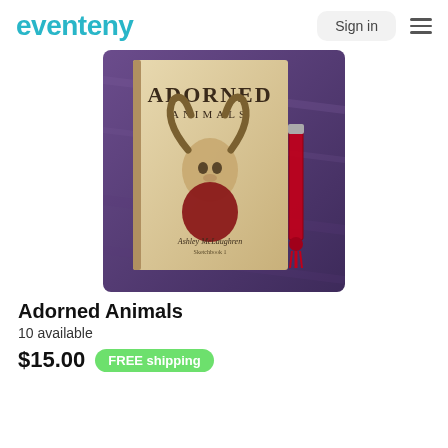eventeny — Sign in
[Figure (photo): Photo of the book 'Adorned Animals' by Ashley McLaughren placed on a purple fabric surface, with a red ribbon bookmark beside it. The book cover features an illustrated ram/goat wearing a Victorian-style red coat.]
Adorned Animals
10 available
$15.00  FREE shipping